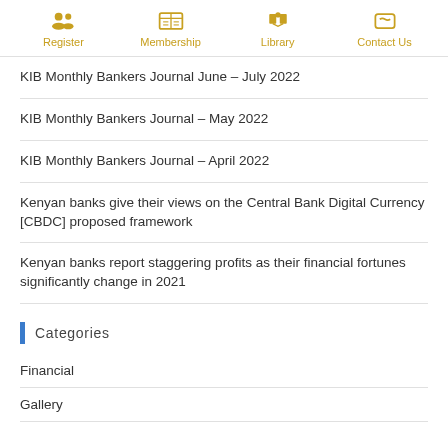Register | Membership | Library | Contact Us
KIB Monthly Bankers Journal June – July 2022
KIB Monthly Bankers Journal – May 2022
KIB Monthly Bankers Journal – April 2022
Kenyan banks give their views on the Central Bank Digital Currency [CBDC] proposed framework
Kenyan banks report staggering profits as their financial fortunes significantly change in 2021
Categories
Financial
Gallery